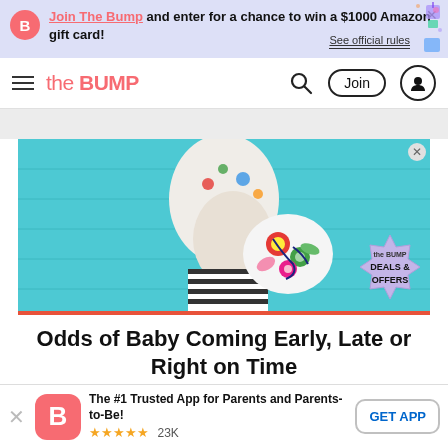Join The Bump and enter for a chance to win a $1000 Amazon gift card! See official rules
the BUMP — navigation bar with search, Join, and user icon
[Figure (photo): Pregnant woman in white embroidered top and striped shorts holding a colorful floral embroidered bag, standing in front of a turquoise/teal brick wall]
Odds of Baby Coming Early, Late or Right on Time
The #1 Trusted App for Parents and Parents-to-Be! ★★★★★ 23K — GET APP